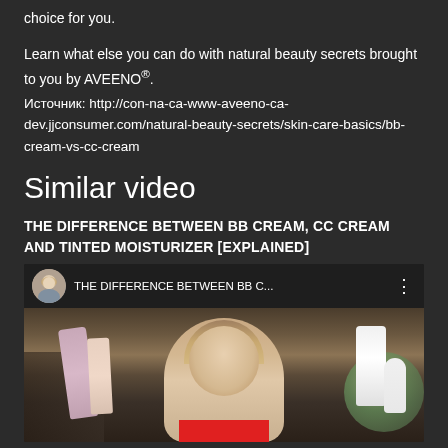choice for you.
Learn what else you can do with natural beauty secrets brought to you by AVEENO®.
Источник: http://con-na-ca-www-aveeno-ca-dev.jjconsumer.com/natural-beauty-secrets/skin-care-basics/bb-cream-vs-cc-cream
Similar video
THE DIFFERENCE BETWEEN BB CREAM, CC CREAM AND TINTED MOISTURIZER [EXPLAINED]
[Figure (screenshot): YouTube video thumbnail showing a woman holding beauty products (BB cream, CC cream) with a red rectangle overlay at the bottom. Video title bar at top reads 'THE DIFFERENCE BETWEEN BB C...' with a circular avatar photo of a blonde woman.]